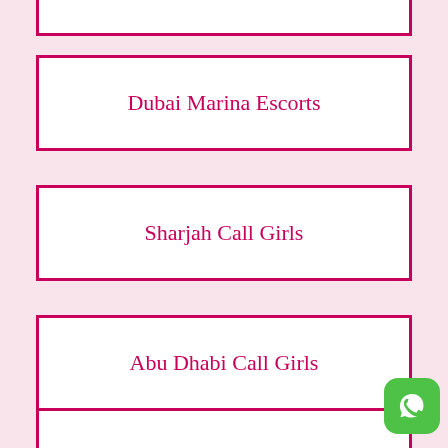Dubai Marina Escorts
Sharjah Call Girls
Abu Dhabi Call Girls
Ras Al Khaimah Escorts